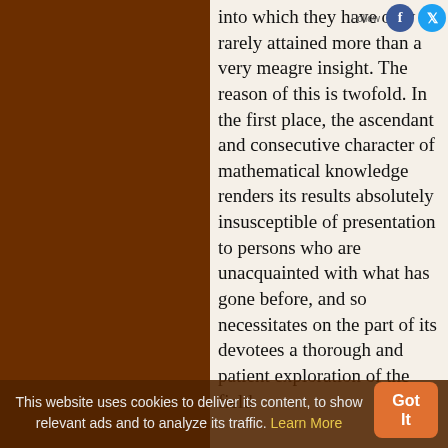into which they have only rarely attained more than a very meagre insight. The reason of this is twofold. In the first place, the ascendant and consecutive character of mathematical knowledge renders its results absolutely insusceptible of presentation to persons who are unacquainted with what has gone before, and so necessitates on the part of its devotees a thorough and patient exploration of the field
[Figure (other): Social media follow icons (Facebook and Twitter) in the top right of the content panel]
This website uses cookies to deliver its content, to show relevant ads and to analyze its traffic. Learn More